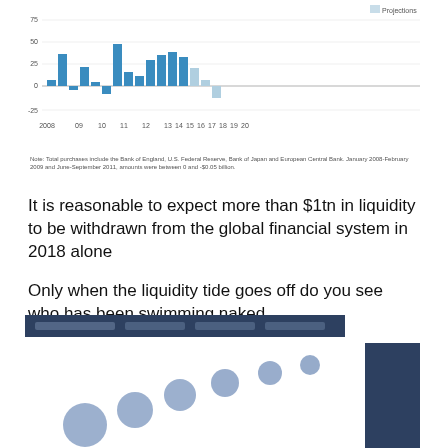[Figure (bar-chart): Bar chart showing central bank asset purchases from 2008 to 2020 with projections, values ranging from about -25 to 75 billion. Bars are teal/blue colored with lighter blue for projections.]
Note: Total purchases include the Bank of England, U.S. Federal Reserve, Bank of Japan and European Central Bank. January 2008-February 2009 and June-September 2011, amounts were between 0 and -$0.05 billion.
It is reasonable to expect more than $1tn in liquidity to be withdrawn from the global financial system in 2018 alone
Only when the liquidity tide goes off do you see who has been swimming naked
[Figure (bubble-chart): Blurred bubble/scatter chart with dark blue header bar and blue circles of varying sizes arranged diagonally, with a dark blue bar on the right side.]